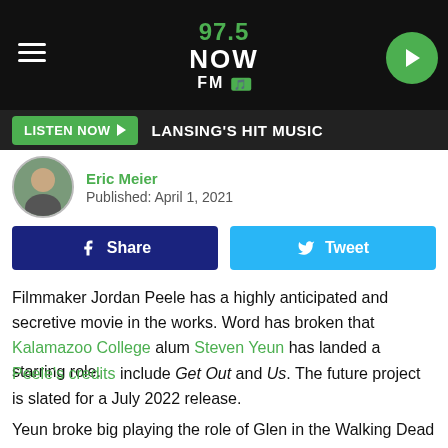97.5 NOW FM — LISTEN NOW — LANSING'S HIT MUSIC
Eric Meier
Published: April 1, 2021
Share  Tweet
Filmmaker Jordan Peele has a highly anticipated and secretive movie in the works. Word has broken that Kalamazoo College alum Steven Yeun has landed a starring role.
Peele's credits include Get Out and Us. The future project is slated for a July 2022 release.
Yeun broke big playing the role of Glen in the Walking Dead and earned an Acadamy Award nomination for Miniri. Variety